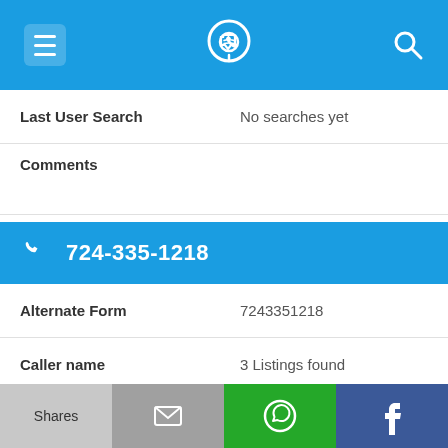[Figure (screenshot): Top navigation bar with menu (hamburger) icon, phone/location logo icon, and search icon on blue background]
Last User Search	No searches yet
Comments
724-335-1218
| Alternate Form | 7243351218 |
| Caller name | 3 Listings found |
| Last User Search | No searches yet |
Comments
[Figure (screenshot): Bottom share bar with four buttons: Shares (light gray), email envelope (gray), WhatsApp (green), Facebook (dark blue)]